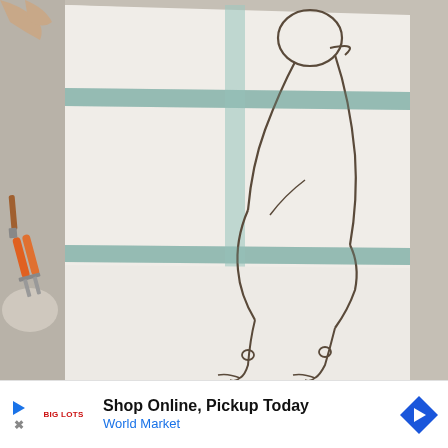[Figure (photo): A photograph taken from above showing large sheets of white paper taped together on a floor with light blue/teal masking tape. On the paper is a pencil line drawing of a flamingo or heron-like bird outline, spanning multiple sheets. The bird's head, neck, body, and legs are visible. To the left side are some scissors (orange handled) and a brush/tool on a marble or stone floor. A person's hand/arm is visible at the top left corner.]
Shop Online, Pickup Today
World Market